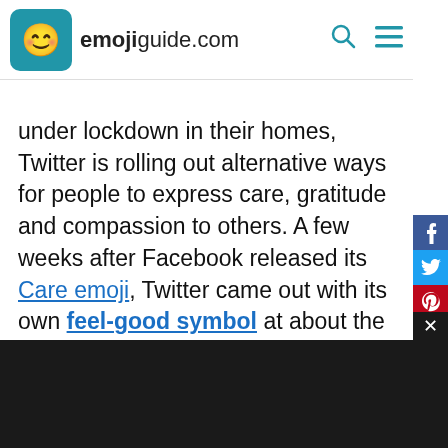emojiguide.com
under lockdown in their homes, Twitter is rolling out alternative ways for people to express care, gratitude and compassion to others. A few weeks after Facebook released its Care emoji, Twitter came out with its own feel-good symbol at about the same time it rolled out Twemoji 13.0.
ADVERTISEMENT